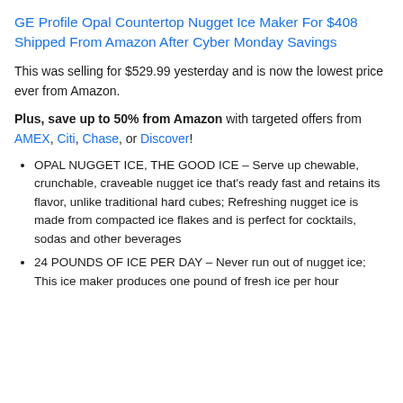GE Profile Opal Countertop Nugget Ice Maker For $408 Shipped From Amazon After Cyber Monday Savings
This was selling for $529.99 yesterday and is now the lowest price ever from Amazon.
Plus, save up to 50% from Amazon with targeted offers from AMEX, Citi, Chase, or Discover!
OPAL NUGGET ICE, THE GOOD ICE – Serve up chewable, crunchable, craveable nugget ice that's ready fast and retains its flavor, unlike traditional hard cubes; Refreshing nugget ice is made from compacted ice flakes and is perfect for cocktails, sodas and other beverages
24 POUNDS OF ICE PER DAY – Never run out of nugget ice; This ice maker produces one pound of fresh ice per hour